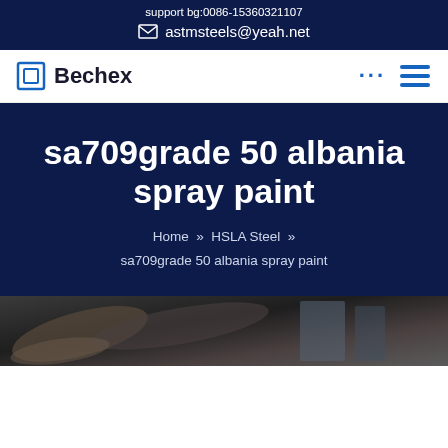support bg:0086-15360321107  astmsteels@yeah.net
[Figure (logo): Bechex logo with blue square icon and text, navigation icons including three dots and hamburger menu]
sa709grade 50 albania spray paint
Home » HSLA Steel » sa709grade 50 albania spray paint
[Figure (photo): Close-up photo of steel pipes or metal tubes, dark metallic texture]